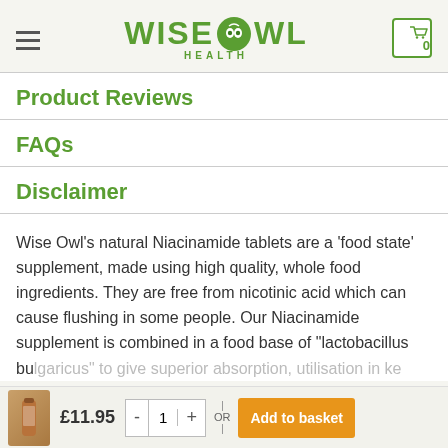Wise Owl Health
Product Reviews
FAQs
Disclaimer
Wise Owl's natural Niacinamide tablets are a 'food state' supplement, made using high quality, whole food ingredients. They are free from nicotinic acid which can cause flushing in some people. Our Niacinamide supplement is combined in a food base of "lactobacillus bulgaricus" to give superior absorption, utilisation in ke...